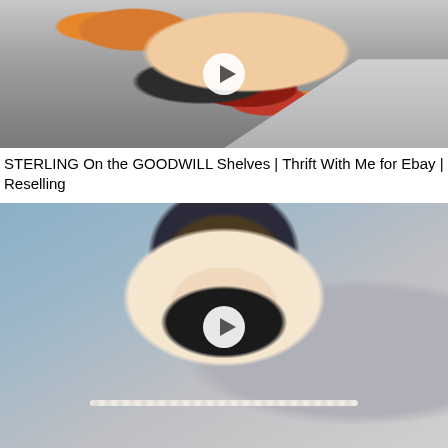[Figure (screenshot): Video thumbnail showing a hand holding a silver sterling item above a thrift store shelf with Halloween decorations and other items visible. A white circular play button overlay is centered on the image.]
STERLING On the GOODWILL Shelves | Thrift With Me for Ebay | Reselling
[Figure (screenshot): Video thumbnail showing a smiling woman wearing glasses, a patterned headband/wrap, and a pearl necklace in a thrift store setting. A white circular play button overlay is centered on the image.]